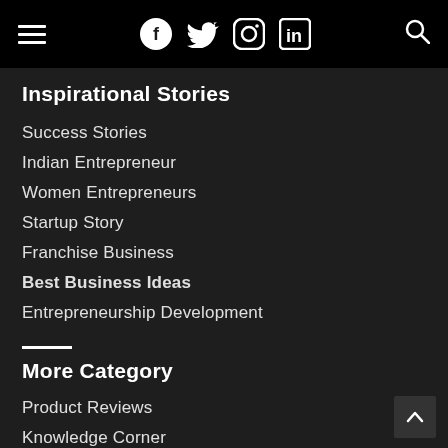Navigation bar with hamburger menu, social icons (Facebook, Twitter, Instagram, LinkedIn), and search icon
Inspirational Stories
Success Stories
Indian Entrepreneur
Women Entrepreneurs
Startup Story
Franchise Business
Best Business Ideas
Entrepreneurship Development
More Category
Product Reviews
Knowledge Corner
Interview & Story
Business Articles
Business News
Health & Fitness